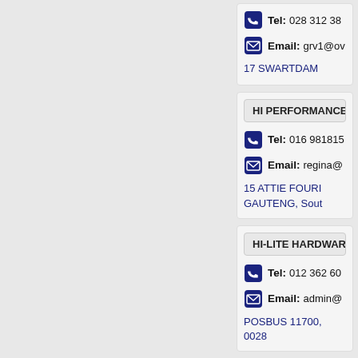Tel: 028 312 38...
Email: grv1@ov...
17 SWARTDAM...
HI PERFORMANCE...
Tel: 016 981815...
Email: regina@...
15 ATTIE FOURI...
GAUTENG, Sout...
HI-LITE HARDWARE...
Tel: 012 362 60...
Email: admin@...
POSBUS 11700,
0028